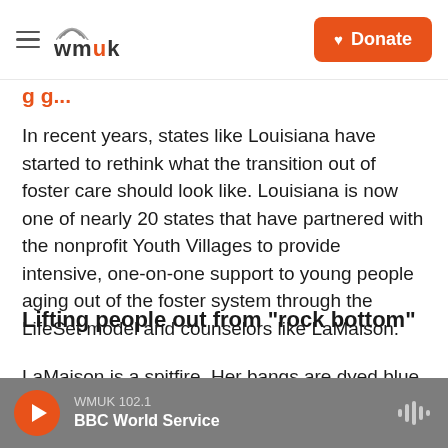WMUK (logo) | Donate
(partial title, cut off)
In recent years, states like Louisiana have started to rethink what the transition out of foster care should look like. Louisiana is now one of nearly 20 states that have partnered with the nonprofit Youth Villages to provide intensive, one-on-one support to young people aging out of the foster system through the LifeSet model and counselors like LaMaison.
Lifting people out from "rock bottom"
LaMaison is a spitfire. Her bangs are dyed blue and
WMUK 102.1 | BBC World Service